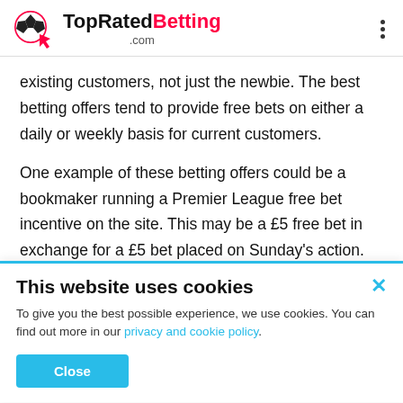TopRatedBetting.com
existing customers, not just the newbie. The best betting offers tend to provide free bets on either a daily or weekly basis for current customers.
One example of these betting offers could be a bookmaker running a Premier League free bet incentive on the site. This may be a £5 free bet in exchange for a £5 bet placed on Sunday's action.
Enhanced Odds
There's a bit of a loophole that you can use to get the best...
This website uses cookies. To give you the best possible experience, we use cookies. You can find out more in our privacy and cookie policy. ...and it's one of the best betting sites that surpass in terms of simplicity.